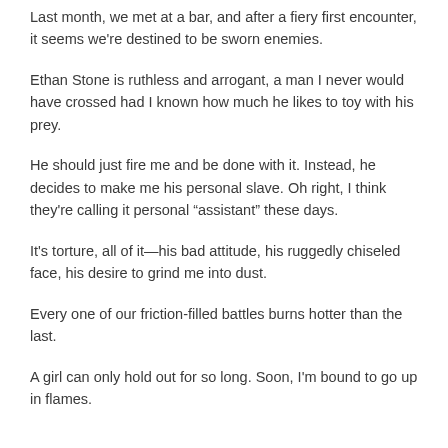Last month, we met at a bar, and after a fiery first encounter, it seems we’re destined to be sworn enemies.
Ethan Stone is ruthless and arrogant, a man I never would have crossed had I known how much he likes to toy with his prey.
He should just fire me and be done with it. Instead, he decides to make me his personal slave. Oh right, I think they’re calling it personal “assistant” these days.
It’s torture, all of it—his bad attitude, his ruggedly chiseled face, his desire to grind me into dust.
Every one of our friction-filled battles burns hotter than the last.
A girl can only hold out for so long. Soon, I’m bound to go up in flames.